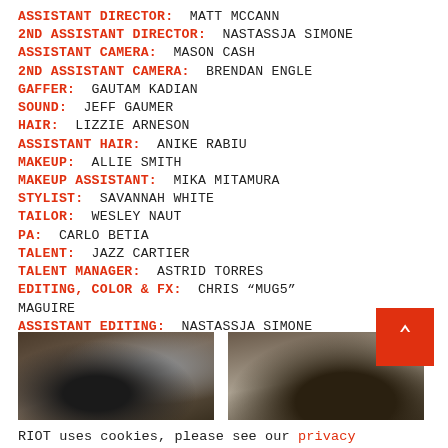ASSISTANT DIRECTOR: MATT MCCANN
2ND ASSISTANT DIRECTOR: NASTASSJA SIMONE
ASSISTANT CAMERA: MASON CASH
2ND ASSISTANT CAMERA: BRENDAN ENGLE
GAFFER: GAUTAM KADIAN
SOUND: JEFF GAUMER
HAIR: LIZZIE ARNESON
ASSISTANT HAIR: ANIKE RABIU
MAKEUP: ALLIE SMITH
MAKEUP ASSISTANT: MIKA MITAMURA
STYLIST: SAVANNAH WHITE
TAILOR: WESLEY NAUT
PA: CARLO BETIA
TALENT: JAZZ CARTIER
TALENT MANAGER: ASTRID TORRES
EDITING, COLOR & FX: CHRIS “MUG5” MAGUIRE
ASSISTANT EDITING: NASTASSJA SIMONE
[Figure (photo): Two film/behind-the-scenes photos side by side]
RIOT uses cookies, please see our privacy